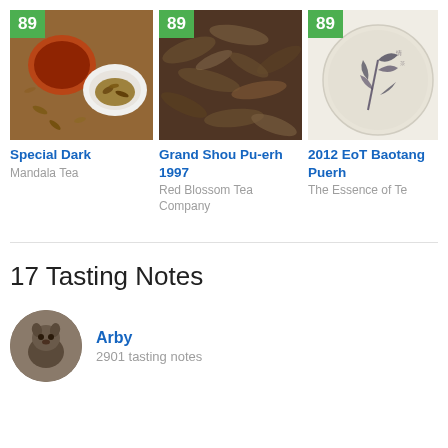[Figure (photo): Photo of Special Dark tea with brewed tea in small cups and loose tea leaves on wooden surface, score badge 89]
Special Dark
Mandala Tea
[Figure (photo): Close-up photo of Grand Shou Pu-erh 1997 dry tea leaves, dark twisted leaves, score badge 89]
Grand Shou Pu-erh 1997
Red Blossom Tea Company
[Figure (photo): Photo of 2012 EoT Baotang Puerh compressed tea cake with floral decoration on light background, score badge 89]
2012 EoT Baotang Puerh
The Essence of Te
17 Tasting Notes
[Figure (photo): Circular avatar photo of user Arby showing a small animal]
Arby
2901 tasting notes